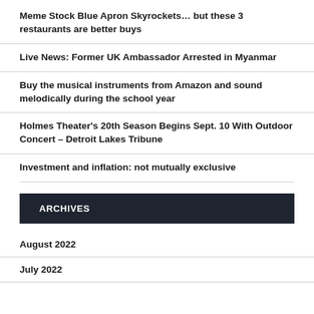Meme Stock Blue Apron Skyrockets… but these 3 restaurants are better buys
Live News: Former UK Ambassador Arrested in Myanmar
Buy the musical instruments from Amazon and sound melodically during the school year
Holmes Theater's 20th Season Begins Sept. 10 With Outdoor Concert – Detroit Lakes Tribune
Investment and inflation: not mutually exclusive
ARCHIVES
August 2022
July 2022